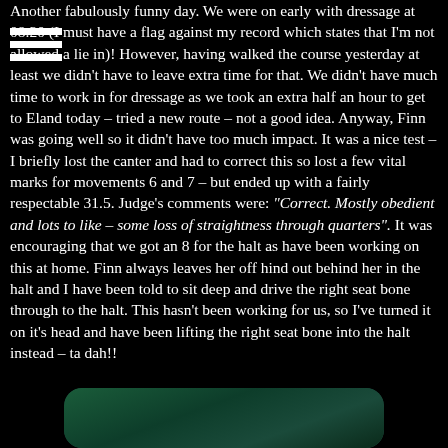Another fabulously funny day. We were on early with dressage at 08.20 (I must have a flag against my record which states that I'm not allowed a lie in)! However, having walked the course yesterday at least we didn't have to leave extra time for that. We didn't have much time to work in for dressage as we took an extra half an hour to get to Eland today – tried a new route – not a good idea. Anyway, Finn was going well so it didn't have too much impact. It was a nice test – I briefly lost the canter and had to correct this so lost a few vital marks for movements 6 and 7 – but ended up with a fairly respectable 31.5. Judge's comments were: "Correct. Mostly obedient and lots to like – some loss of straightness through quarters". It was encouraging that we got an 8 for the halt as have been working on this at home. Finn always leaves her off hind out behind her in the halt and I have been told to sit deep and drive the right seat bone through to the halt. This hasn't been working for us, so I've turned it on it's head and have been lifting the right seat bone into the halt instead – ta dah!!
[Figure (photo): Partial view of a photo at the bottom of the page showing a dark green outdoor scene, likely trees or foliage, with rounded corners on a black background.]